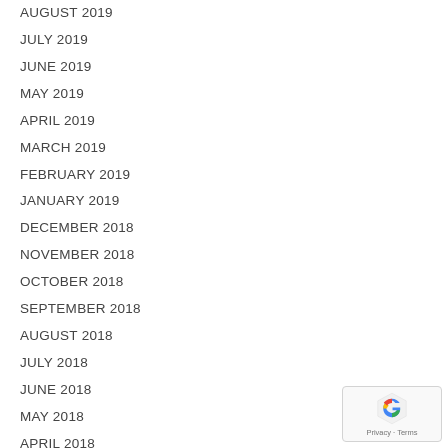AUGUST 2019
JULY 2019
JUNE 2019
MAY 2019
APRIL 2019
MARCH 2019
FEBRUARY 2019
JANUARY 2019
DECEMBER 2018
NOVEMBER 2018
OCTOBER 2018
SEPTEMBER 2018
AUGUST 2018
JULY 2018
JUNE 2018
MAY 2018
APRIL 2018